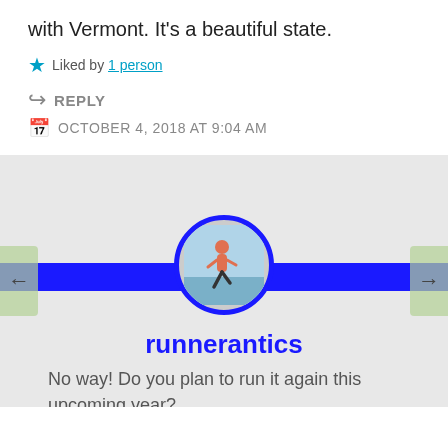with Vermont. It's a beautiful state.
Liked by 1 person
REPLY
OCTOBER 4, 2018 AT 9:04 AM
[Figure (photo): Circular avatar photo of a runner in red shorts near water, surrounded by a thick blue circular border, centered on a blue horizontal bar.]
runnerantics
No way! Do you plan to run it again this upcoming year?
Liked by 1 person